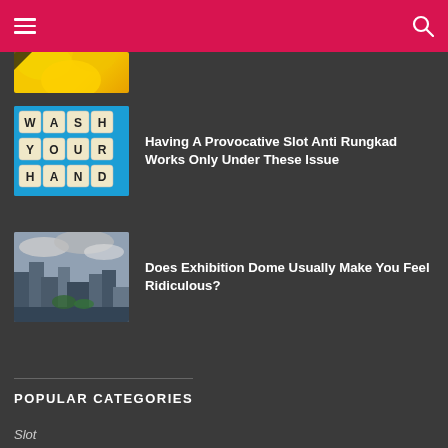Navigation bar with hamburger menu and search icon
[Figure (photo): Partial yellow flower photo thumbnail at top]
[Figure (photo): Blue background with Scrabble tiles spelling WASH YOUR HAND]
Having A Provocative Slot Anti Rungkad Works Only Under These Issue
[Figure (photo): Aerial cityscape with cloudy sky and skyscrapers]
Does Exhibition Dome Usually Make You Feel Ridiculous?
POPULAR CATEGORIES
Slot